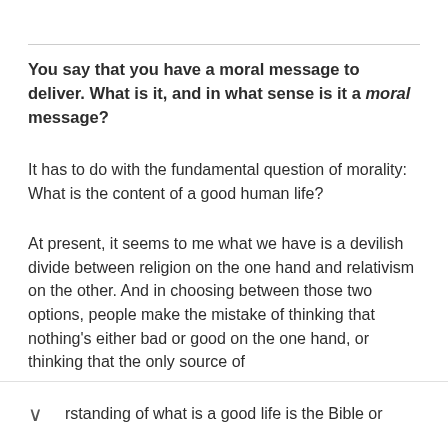You say that you have a moral message to deliver. What is it, and in what sense is it a moral message?
It has to do with the fundamental question of morality: What is the content of a good human life?
At present, it seems to me what we have is a devilish divide between religion on the one hand and relativism on the other. And in choosing between those two options, people make the mistake of thinking that nothing's either bad or good on the one hand, or thinking that the only source of understanding of what is a good life is the Bible or